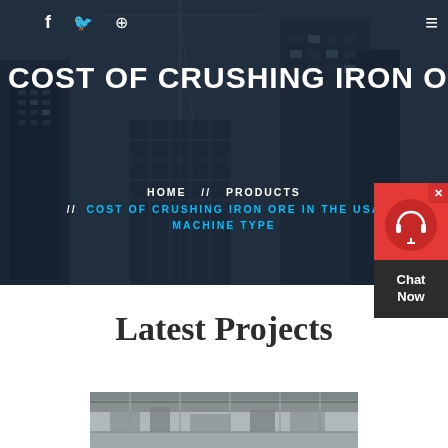[Figure (photo): Construction site hero image with cranes and buildings in dark blue/grey tones with overlay]
f  🐦  ⊕  ≡
COST OF CRUSHING IRON ORE I
HOME  //  PRODUCTS  //  COST OF CRUSHING IRON ORE IN THE USA  MACHINE TYPE
[Figure (other): Red chat widget with headset icon and 'Chat Now' label]
Latest Projects
[Figure (photo): Industrial/construction interior photograph showing factory or warehouse structure]